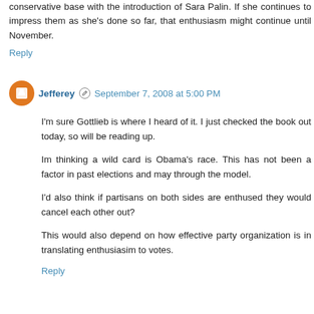conservative base with the introduction of Sara Palin. If she continues to impress them as she's done so far, that enthusiasm might continue until November.
Reply
Jefferey  September 7, 2008 at 5:00 PM
I'm sure Gottlieb is where I heard of it. I just checked the book out today, so will be reading up.
Im thinking a wild card is Obama's race. This has not been a factor in past elections and may through the model.
I'd also think if partisans on both sides are enthused they would cancel each other out?
This would also depend on how effective party organization is in translating enthusiasim to votes.
Reply